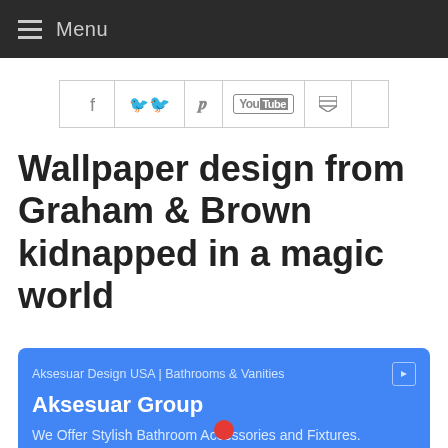Menu
[Figure (other): Social media icon bar with Facebook, Twitter, Pinterest, YouTube, and RSS icons]
Wallpaper design from Graham & Brown kidnapped in a magic world
[Figure (other): Advertisement box: Aksesuar Design USA | Bathrooms & Vanities. Aksesuar Group. We Offer Stylish Bathroom Accessories and Fixtures.]